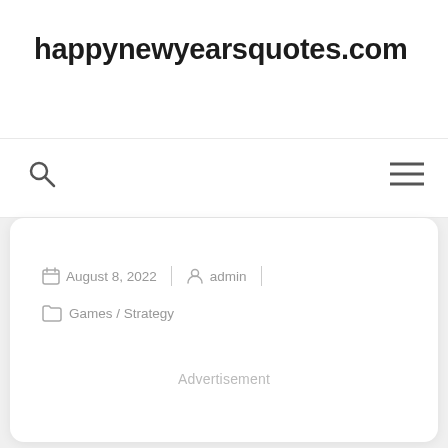happynewyearsquotes.com
August 8, 2022 | admin | Games / Strategy
Advertisement